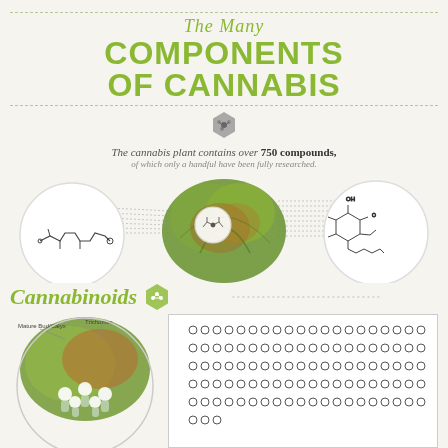The Many COMPONENTS OF CANNABIS
The cannabis plant contains over 750 compounds, of which only a handful have been fully researched.
[Figure (infographic): Illustration of cannabis plant buds with two circular molecular structure diagrams on the left and right sides, showing chemical compound structures with dotted connectors.]
Cannabinoids
[Figure (infographic): Left side shows a circular illustration of mature bud/calyx and trichomes on a cannabis plant in detail. Right side shows a bordered box with rows of small circles (representing 113 cannabinoids).]
Cannabinoids are produced by trichomes
There are close to 113 different cannabinoids